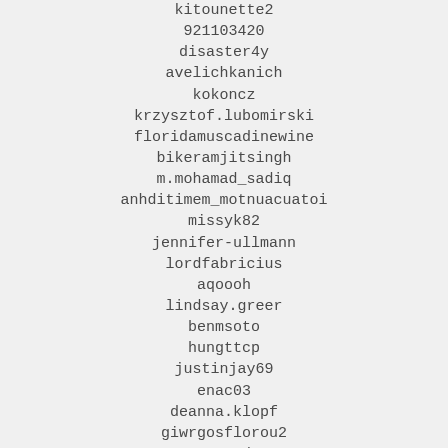kitounette2
921103420
disaster4y
avelichkanich
kokoncz
krzysztof.lubomirski
floridamuscadinewine
bikeramjitsingh
m.mohamad_sadiq
anhditimem_motnuacuatoi
missyk82
jennifer-ullmann
lordfabricius
aqoooh
lindsay.greer
benmsoto
hungttcp
justinjay69
enac03
deanna.klopf
giwrgosflorou2
avnmark
aquitasnowletmedamnit
embassyedctr
alexisr_84